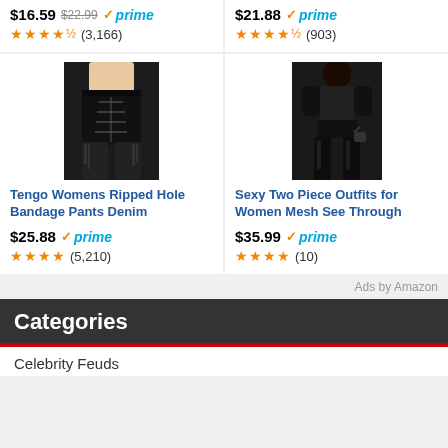$16.59  $22.99  prime  ★★★★½  (3,166)
$21.88  prime  ★★★★½  (903)
[Figure (photo): Woman wearing black ripped denim bandage shorts with lace-up sides]
Tengo Womens Ripped Hole Bandage Pants Denim
$25.88  prime  ★★★★  (5,210)
[Figure (photo): Woman wearing black mesh see-through two piece outfit with thigh-high boots]
Sexy Two Piece Outfits for Women Mesh See Through
$35.99  prime  ★★★★  (10)
Ads by Amazon
Categories
Celebrity Feuds